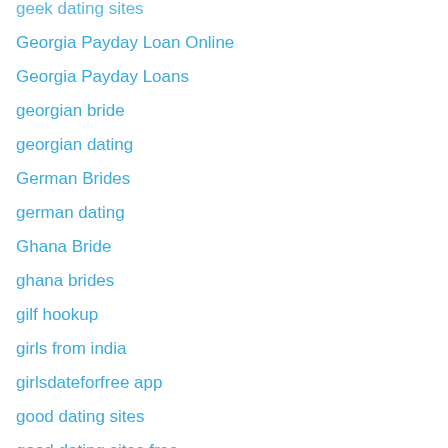geek dating sites
Georgia Payday Loan Online
Georgia Payday Loans
georgian bride
georgian dating
German Brides
german dating
Ghana Bride
ghana brides
gilf hookup
girls from india
girlsdateforfree app
good dating sites
good dating sites free
Greek Brides
greek dating
greek women dating